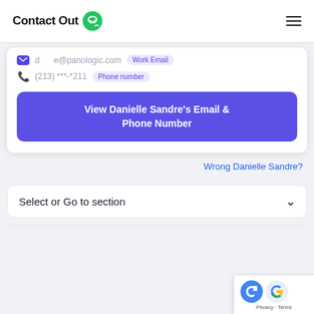ContactOut
d      e@panologic.com    Work Email
(213) ***-*211    Phone number
View Danielle Sandre's Email & Phone Number
Wrong Danielle Sandre?
Select or Go to section
[Figure (logo): reCAPTCHA badge with Privacy and Terms links]